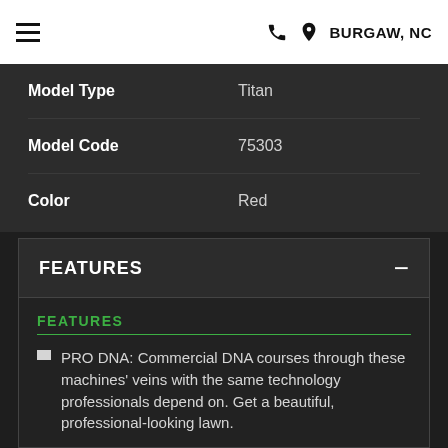BURGAW, NC
| Field | Value |
| --- | --- |
| Model Type | Titan |
| Model Code | 75303 |
| Color | Red |
FEATURES
FEATURES
PRO DNA: Commercial DNA courses through these machines' veins with the same technology professionals depend on. Get a beautiful, professional-looking lawn.
IRONFORGED® DECK: Toro IronForged® fabricated deck ensures years of reliability and